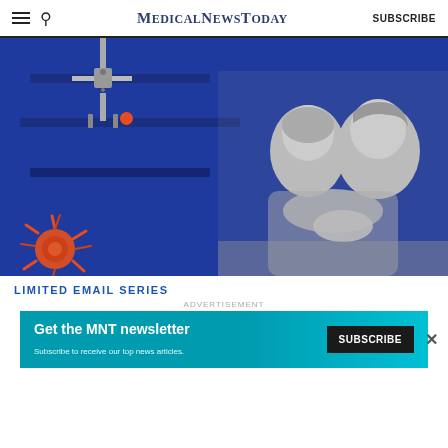MedicalNewsToday | SUBSCRIBE
[Figure (photo): Medical/cancer themed composite image: blue background with robotic arm, orange cancer cell marker, dark horizontal bars, and black-and-white photo of two women (one wearing head covering, leaning on older woman), plus orange cancer cell cluster in lower left]
LIMITED EMAIL SERIES
ADVERTISEMENT
Get the MNT newsletter
Subscribe to receive our top news articles.
SUBSCRIBE